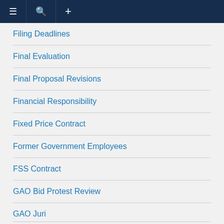≡  🔍  +
Filing Deadlines
Final Evaluation
Final Proposal Revisions
Financial Responsibility
Fixed Price Contract
Former Government Employees
FSS Contract
GAO Bid Protest Review
GAO Jurisdiction